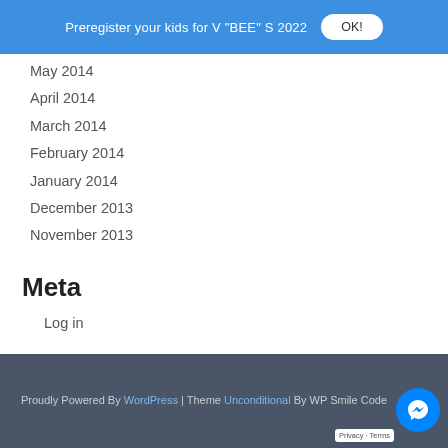Preregister your kids for V "BEE" S 2022  OK!
May 2014
April 2014
March 2014
February 2014
January 2014
December 2013
November 2013
Meta
Log in
Proudly Powered By WordPress | Theme Unconditional By WP Smile Code